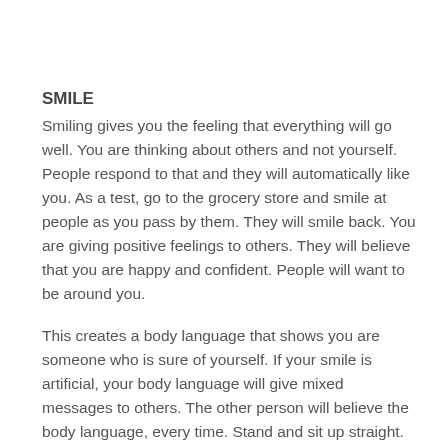SMILE
Smiling gives you the feeling that everything will go well. You are thinking about others and not yourself. People respond to that and they will automatically like you. As a test, go to the grocery store and smile at people as you pass by them. They will smile back. You are giving positive feelings to others. They will believe that you are happy and confident. People will want to be around you.
This creates a body language that shows you are someone who is sure of yourself. If your smile is artificial, your body language will give mixed messages to others. The other person will believe the body language, every time. Stand and sit up straight. Push your shoulders back. Use direct eye contact and a strong hand shake. It shows strength and belief in yourself.